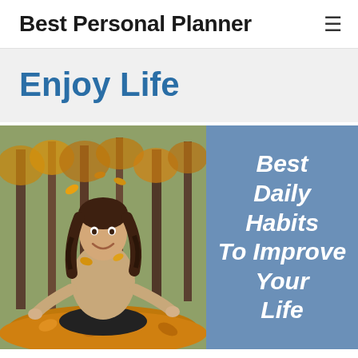Best Personal Planner
Enjoy Life
[Figure (photo): A smiling young woman sitting cross-legged among autumn leaves in a park, tossing leaves in the air. Beside the photo is a blue panel with italic bold white text reading 'Best Daily Habits To Improve Your Life'.]